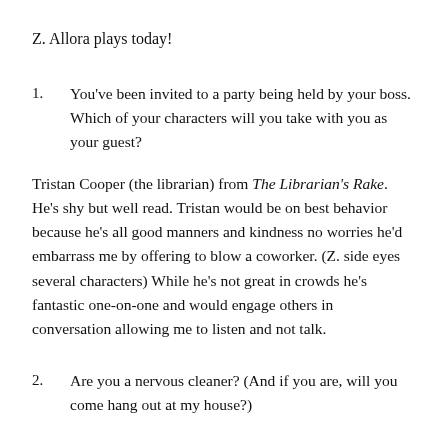Z. Allora plays today!
1. You've been invited to a party being held by your boss. Which of your characters will you take with you as your guest?
Tristan Cooper (the librarian) from The Librarian's Rake. He's shy but well read. Tristan would be on best behavior because he's all good manners and kindness no worries he'd embarrass me by offering to blow a coworker. (Z. side eyes several characters) While he's not great in crowds he's fantastic one-on-one and would engage others in conversation allowing me to listen and not talk.
2. Are you a nervous cleaner? (And if you are, will you come hang out at my house?)